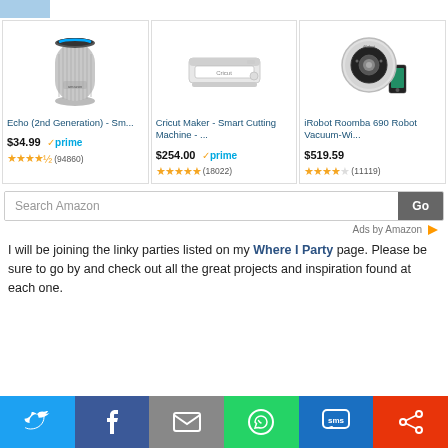[Figure (screenshot): Amazon product listing: Echo (2nd Generation) smart speaker, gray fabric, with blue ring light]
Echo (2nd Generation) - Sm...
$34.99 ✓prime ★★★★½ (94860)
[Figure (screenshot): Amazon product listing: Cricut Maker Smart Cutting Machine, white device]
Cricut Maker - Smart Cutting Machine - ...
$254.00 ✓prime ★★★★★ (18022)
[Figure (screenshot): Amazon product listing: iRobot Roomba 690 Robot Vacuum with smartphone]
iRobot Roomba 690 Robot Vacuum-Wi...
$519.59 ★★★★½ (11119)
Search Amazon
Ads by Amazon
I will be joining the linky parties listed on my Where I Party page. Please be sure to go by and check out all the great projects and inspiration found at each one.
[Figure (infographic): Social sharing buttons: Twitter, Facebook, Email, WhatsApp, SMS, other]